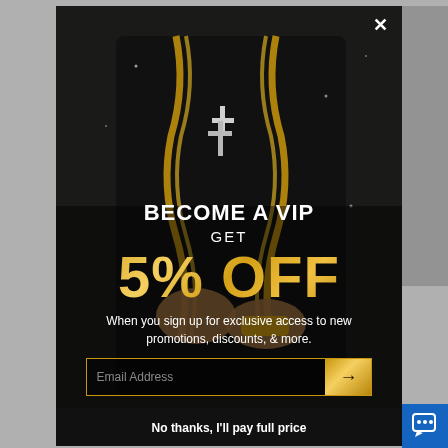[Figure (screenshot): Modal popup overlay on a dark background photo of a person wearing gold chains and jewelry. The modal shows a VIP discount offer for an e-commerce jewelry store.]
BECOME A VIP
GET
5% OFF
When you sign up for exclusive access to new promotions, discounts, & more.
Email Address
No thanks, I'll pay full price